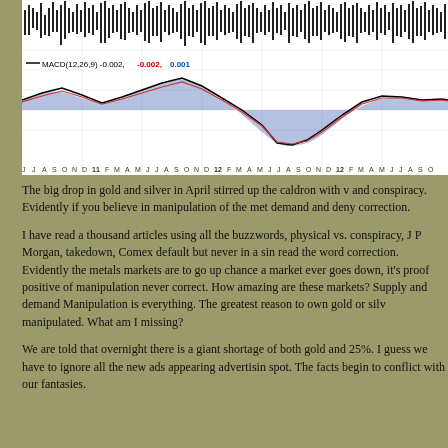[Figure (continuous-plot): MACD(12,26,9) indicator chart showing price/oscillator lines over time. X-axis shows months from J J A S O N D 11 F M A M J J A S O N D 12 F M A M J J A S O. Chart shows black candlestick/price bars at top and MACD lines (black, red, blue shaded area) below. Legend: MACD(12,26,9) -0.002, -0.002, 0.001]
The big drop in gold and silver in April stirred up the caldron with v and conspiracy. Evidently if you believe in manipulation of the met demand and deny correction.
I have read a thousand articles using all the buzzwords, physical vs. conspiracy, J P Morgan, takedown, Comex default but never in a sin read the word correction. Evidently the metals markets are to go up chance a market ever goes down, it's proof positive of manipulation never correct. How amazing are these markets? Supply and demand Manipulation is everything. The greatest reason to own gold or silv manipulated. What am I missing?
We are told that overnight there is a giant shortage of both gold and 25%. I guess we have to ignore all the new ads appearing advertisin spot. The facts begin to conflict with our fantasies.